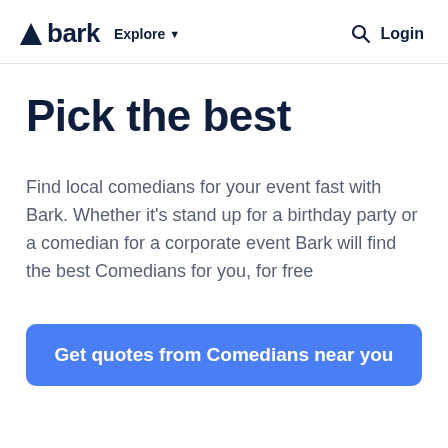bark  Explore  Login
Pick the best
Find local comedians for your event fast with Bark. Whether it's stand up for a birthday party or a comedian for a corporate event Bark will find the best Comedians for you, for free
Get quotes from Comedians near you